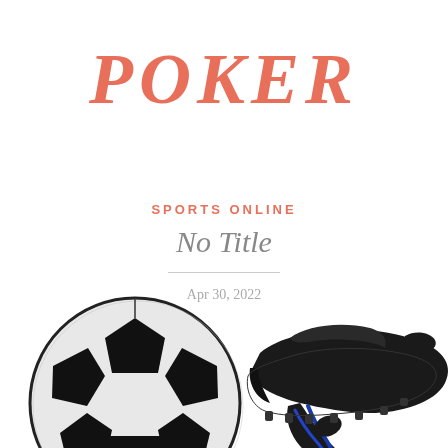POKER
SPORTS ONLINE
No Title
Apr 30, 2022
[Figure (illustration): A soccer ball and a black soccer cleat/shoe with blue laces, partially cropped at the bottom of the page]